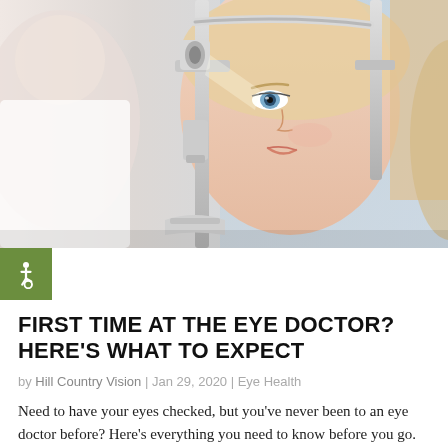[Figure (photo): A woman undergoing an eye examination at an optometrist, looking into a slit lamp machine. A medical professional is partially visible on the left. The woman is smiling and has blonde hair.]
FIRST TIME AT THE EYE DOCTOR? HERE'S WHAT TO EXPECT
by Hill Country Vision | Jan 29, 2020 | Eye Health
Need to have your eyes checked, but you've never been to an eye doctor before? Here's everything you need to know before you go.  Maybe you've noticed that road signs are blurry or that you otherwise don't see as well as you used to. Maybe